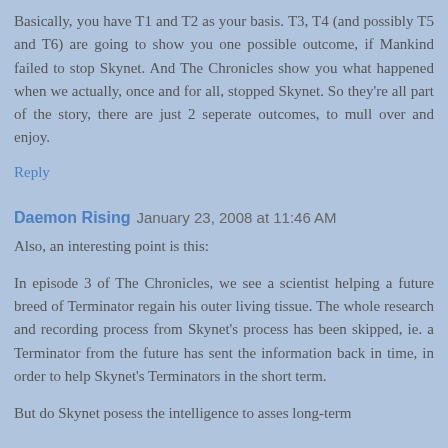Basically, you have T1 and T2 as your basis. T3, T4 (and possibly T5 and T6) are going to show you one possible outcome, if Mankind failed to stop Skynet. And The Chronicles show you what happened when we actually, once and for all, stopped Skynet. So they're all part of the story, there are just 2 seperate outcomes, to mull over and enjoy.
Reply
Daemon Rising  January 23, 2008 at 11:46 AM
Also, an interesting point is this:
In episode 3 of The Chronicles, we see a scientist helping a future breed of Terminator regain his outer living tissue. The whole research and recording process from Skynet's process has been skipped, ie. a Terminator from the future has sent the information back in time, in order to help Skynet's Terminators in the short term.
But do Skynet posess the intelligence to asses long-term